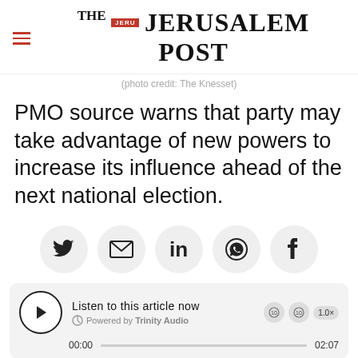THE JERUSALEM POST
(photo credit: The Knesset)
PMO source warns that party may take advantage of new powers to increase its influence ahead of the next national election.
[Figure (other): Social share buttons: Twitter, Email, LinkedIn, WhatsApp, Facebook]
[Figure (other): Audio player: Listen to this article now. Powered by Trinity Audio. Duration 02:07.]
Advertisement